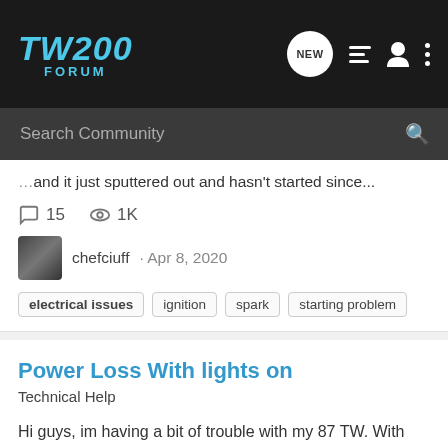TW200 FORUM
...and it just sputtered out and hasn't started since...
15 comments, 1K views
chefciuff · Apr 8, 2020
electrical issues  ignition  spark  starting problem
Power Loss With lights on
Technical Help
Hi guys, im having a bit of trouble with my 87 TW. With the lights on, the engine misfires at high revs and has really low power (max speed 60kmh), but if i turn the lights out the thing turns in to a Beast and has loads of power. Currently when i have the lights on on idle, the lights are...